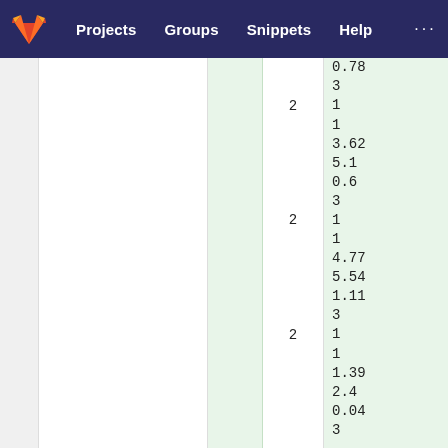Projects  Groups  Snippets  Help  ...
|  |  |  | col4 | col5 |
| --- | --- | --- | --- | --- |
|  |  |  |  | 0.78 |
|  |  |  |  | 3 |
|  |  |  | 2 | 1 |
|  |  |  |  | 1 |
|  |  |  |  | 3.62 |
|  |  |  |  | 5.1 |
|  |  |  |  | 0.6 |
|  |  |  |  | 3 |
|  |  |  | 2 | 1 |
|  |  |  |  | 1 |
|  |  |  |  | 4.77 |
|  |  |  |  | 5.54 |
|  |  |  |  | 1.11 |
|  |  |  |  | 3 |
|  |  |  | 2 | 1 |
|  |  |  |  | 1 |
|  |  |  |  | 1.39 |
|  |  |  |  | 2.4 |
|  |  |  |  | 0.04 |
|  |  |  |  | 3 |